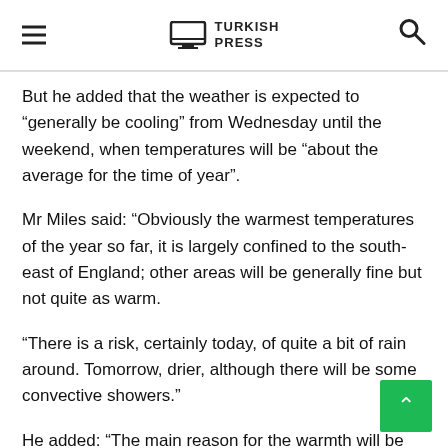TURKISH PRESS
But he added that the weather is expected to “generally be cooling” from Wednesday until the weekend, when temperatures will be “about the average for the time of year”.
Mr Miles said: “Obviously the warmest temperatures of the year so far, it is largely confined to the south-east of England; other areas will be generally fine but not quite as warm.
“There is a risk, certainly today, of quite a bit of rain around. Tomorrow, drier, although there will be some convective showers.”
He added: “The main reason for the warmth will be the higher pressure of the continent which is where the plume